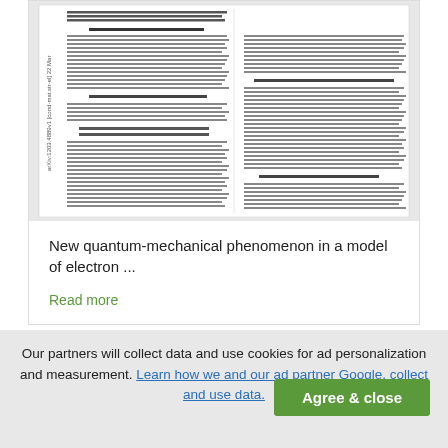[Figure (screenshot): Thumbnail of an arXiv scientific paper about quantum-mechanical phenomenon in a model of electron, showing two-column text with equations and formulas. Rotated 90 degrees with arXiv identifier visible.]
New quantum-mechanical phenomenon in a model of electron ...
Read more
Our partners will collect data and use cookies for ad personalization and measurement. Learn how we and our ad partner Google, collect and use data.
Agree & close